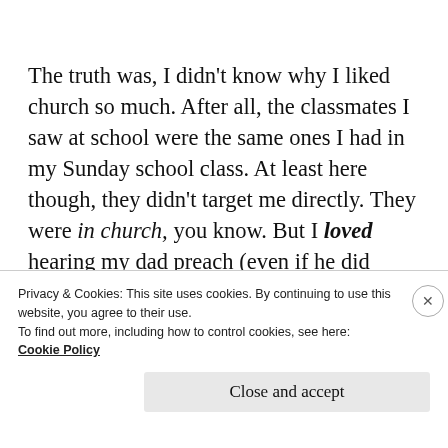The truth was, I didn't know why I liked church so much. After all, the classmates I saw at school were the same ones I had in my Sunday school class. At least here though, they didn't target me directly. They were in church, you know. But I loved hearing my dad preach (even if he did seem to go on a little long–I love you
Privacy & Cookies: This site uses cookies. By continuing to use this website, you agree to their use.
To find out more, including how to control cookies, see here:
Cookie Policy
Close and accept